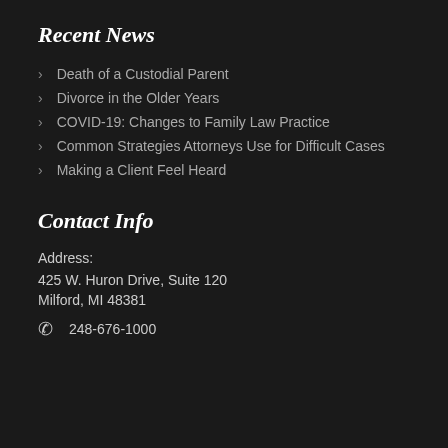Recent News
Death of a Custodial Parent
Divorce in the Older Years
COVID-19: Changes to Family Law Practice
Common Strategies Attorneys Use for Difficult Cases
Making a Client Feel Heard
Contact Info
Address:
425 W. Huron Drive, Suite 120
Milford, MI 48381
248-676-1000